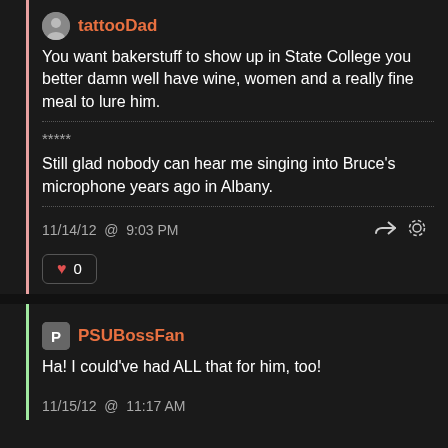tattooDad
You want bakerstuff to show up in State College you better damn well have wine, women and a really fine meal to lure him.
*****
Still glad nobody can hear me singing into Bruce's microphone years ago in Albany.
11/14/12 @ 9:03 PM
0
PSUBossFan
Ha! I could've had ALL that for him, too!
11/15/12 @ 11:17 AM